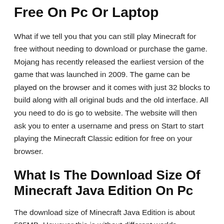Free On Pc Or Laptop
What if we tell you that you can still play Minecraft for free without needing to download or purchase the game. Mojang has recently released the earliest version of the game that was launched in 2009. The game can be played on the browser and it comes with just 32 blocks to build along with all original buds and the old interface. All you need to do is go to website. The website will then ask you to enter a username and press on Start to start playing the Minecraft Classic edition for free on your browser.
What Is The Download Size Of Minecraft Java Edition On Pc
The download size of Minecraft Java Edition is about 525MB. However this is without different worlds, resource